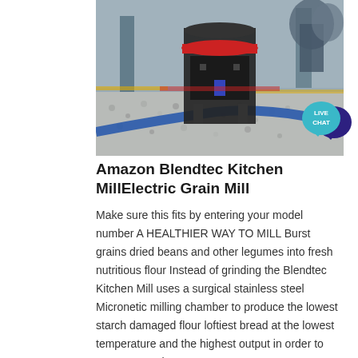[Figure (photo): Industrial grain milling machine in a factory setting, with gray granules/gravel on the floor and large equipment in the background]
[Figure (infographic): Live Chat speech bubble badge in teal and dark purple]
Amazon Blendtec Kitchen MillElectric Grain Mill
Make sure this fits by entering your model number A HEALTHIER WAY TO MILL Burst grains dried beans and other legumes into fresh nutritious flour Instead of grinding the Blendtec Kitchen Mill uses a surgical stainless steel Micronetic milling chamber to produce the lowest starch damaged flour loftiest bread at the lowest temperature and the highest output in order to preserve nutrients